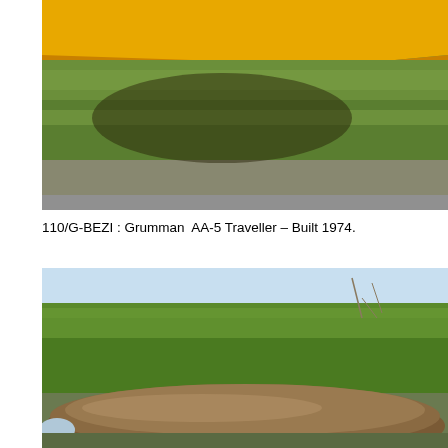[Figure (photo): Photograph of a yellow and blue Grumman AA-5 Traveller aircraft parked on grass, viewed from below and behind showing underside and shadow on green grass with tarmac at bottom edge.]
110/G-BEZI : Grumman  AA-5 Traveller – Built 1974.
[Figure (photo): Photograph of what appears to be an aircraft covered with a brown/khaki cover, parked in front of a green hedgerow under a pale blue sky.]